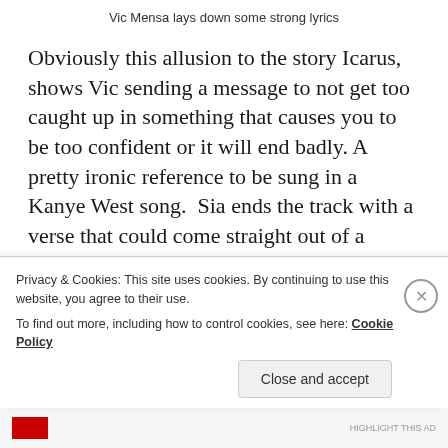Vic Mensa lays down some strong lyrics
Obviously this allusion to the story Icarus, shows Vic sending a message to not get too caught up in something that causes you to be too confident or it will end badly. A pretty ironic reference to be sung in a Kanye West song.  Sia ends the track with a verse that could come straight out of a horror movie. The whole song is very creepy and will cause you to instantly throw it on repeat. All in all it will be a perfect first track for Ye's album and hopefully will lead into a banger of a second track.
Privacy & Cookies: This site uses cookies. By continuing to use this website, you agree to their use.
To find out more, including how to control cookies, see here: Cookie Policy
Close and accept